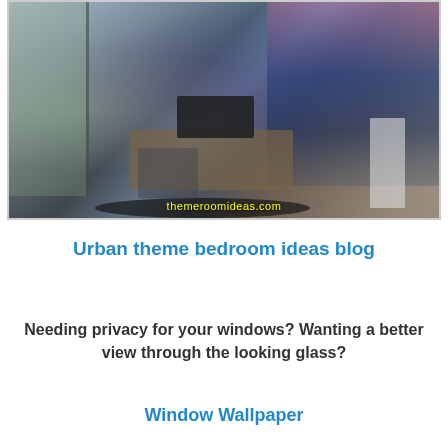[Figure (photo): Interior room photo showing an urban-themed bedroom/office space with a desk, monitor, chair, coat rack, and city skyline wallpaper visible through large windows. Watermark reads 'themeroomideas.com' in yellow.]
Urban theme bedroom ideas blog
Needing privacy for your windows? Wanting a better view through the looking glass?
Window Wallpaper